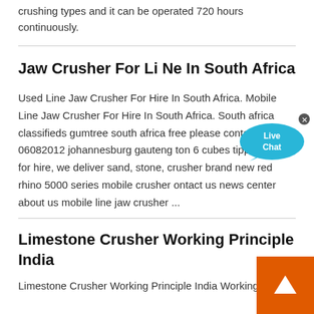crushing types and it can be operated 720 hours continuously.
Jaw Crusher For Li Ne In South Africa
Used Line Jaw Crusher For Hire In South Africa. Mobile Line Jaw Crusher For Hire In South Africa. South africa classifieds gumtree south africa free please contact 06082012 johannesburg gauteng ton 6 cubes tipper truck for hire, we deliver sand, stone, crusher brand new red rhino 5000 series mobile crusher ontact us news center about us mobile line jaw crusher ...
Limestone Crusher Working Principle India
Limestone Crusher Working Principle India Working